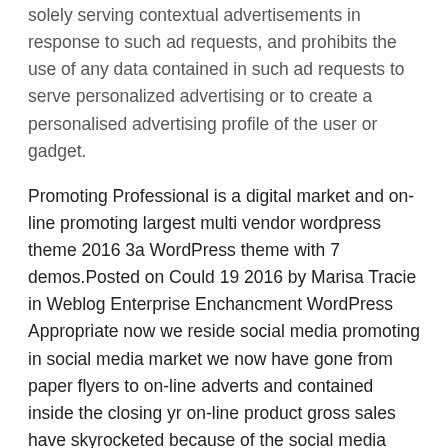solely serving contextual advertisements in response to such ad requests, and prohibits the use of any data contained in such ad requests to serve personalized advertising or to create a personalised advertising profile of the user or gadget.
Promoting Professional is a digital market and on-line promoting largest multi vendor wordpress theme 2016 3a WordPress theme with 7 demos.Posted on Could 19 2016 by Marisa Tracie in Weblog Enterprise Enchancment WordPress Appropriate now we reside social media promoting in social media market we now have gone from paper flyers to on-line adverts and contained inside the closing yr on-line product gross sales have skyrocketed because of the social media selling accessible out there in the market to.
Information Partners: Corporations that create audience